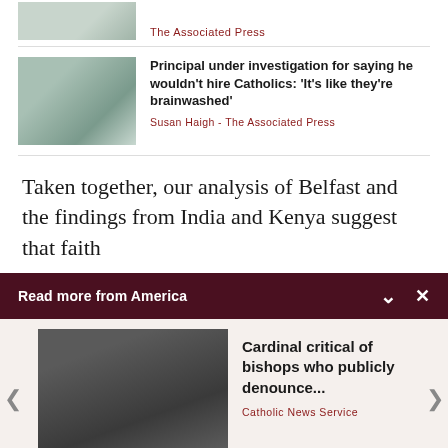[Figure (photo): Partial top image, cropped, with text byline The Associated Press]
The Associated Press
[Figure (photo): Street scene photo of a town with buildings and a traffic light]
Principal under investigation for saying he wouldn't hire Catholics: 'It's like they're brainwashed'
Susan Haigh - The Associated Press
Taken together, our analysis of Belfast and the findings from India and Kenya suggest that faith
Read more from America
[Figure (photo): Group of cardinals/bishops in black robes seated at a table]
Cardinal critical of bishops who publicly denounce...
Catholic News Service